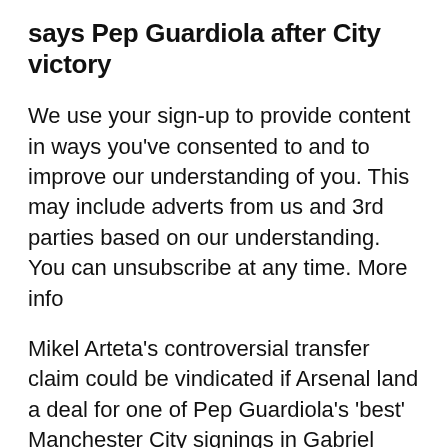says Pep Guardiola after City victory
We use your sign-up to provide content in ways you’ve consented to and to improve our understanding of you. This may include adverts from us and 3rd parties based on our understanding. You can unsubscribe at any time. More info
Mikel Arteta’s controversial transfer claim could be vindicated if Arsenal land a deal for one of Pep Guardiola’s ‘best’ Manchester City signings in Gabriel Jesus. The Gunners’s lack of activity in the January transfer window was criticised, with American defender